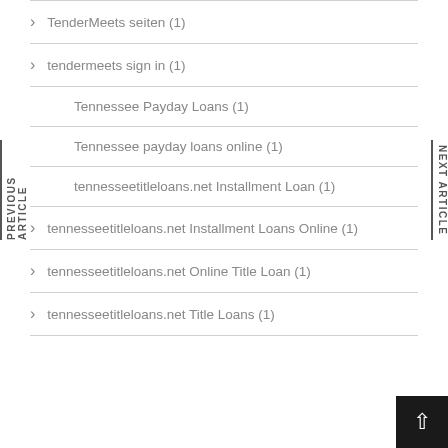TenderMeets seiten (1)
tendermeets sign in (1)
Tennessee Payday Loans (1)
Tennessee payday loans online (1)
tennesseetitleloans.net Installment Loan (1)
tennesseetitleloans.net Installment Loans Online (1)
tennesseetitleloans.net Online Title Loan (1)
tennesseetitleloans.net Title Loans (1)